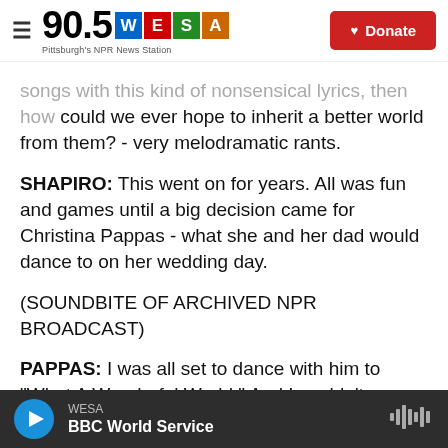90.5 WESA — Pittsburgh's NPR News Station | Donate
songs with this kind of nonsensical lyrics, then how could we ever hope to inherit a better world from them? - very melodramatic rants.
SHAPIRO: This went on for years. All was fun and games until a big decision came for Christina Pappas - what she and her dad would dance to on her wedding day.
(SOUNDBITE OF ARCHIVED NPR BROADCAST)
PAPPAS: I was all set to dance with him to "What A Wonderful World." And I couldn't see us dancing to "What A Wonderful World." So on my wedding day,
WESA — BBC World Service